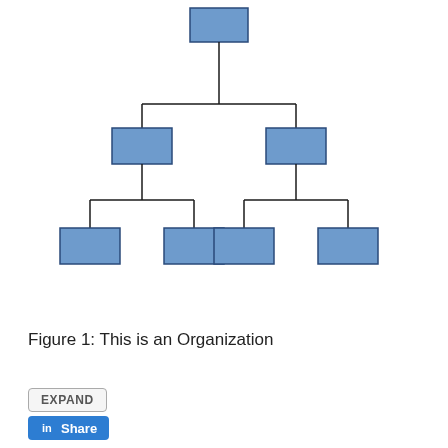[Figure (organizational-chart): Organizational chart with a root node at top, branching down to two level-2 nodes, each branching to two level-3 leaf nodes. All nodes are blue filled rectangles. Total 7 nodes.]
Figure 1: This is an Organization